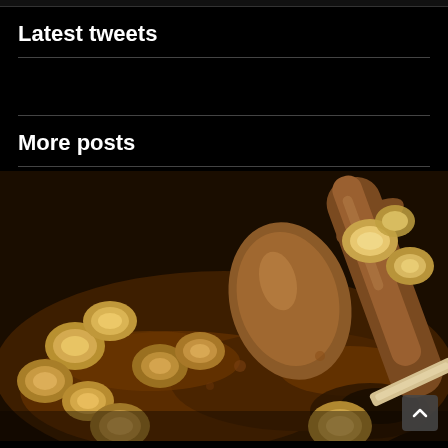Latest tweets
More posts
[Figure (photo): Close-up photo of sliced bananas being cooked in a dark caramel sauce in a pan, with a wooden spoon stirring them.]